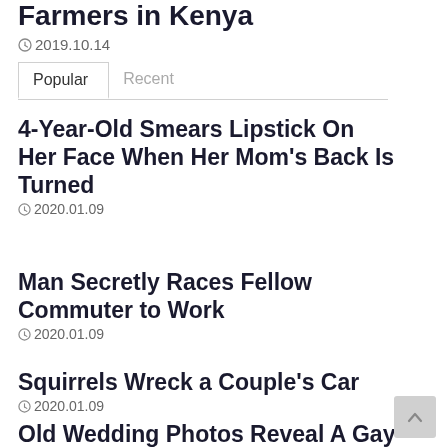Farmers in Kenya
2019.10.14
[Figure (screenshot): Tab bar with 'Popular' and 'Recent' tabs]
4-Year-Old Smears Lipstick On Her Face When Her Mom's Back Is Turned
2020.01.09
Man Secretly Races Fellow Commuter to Work
2020.01.09
Squirrels Wreck a Couple's Car
2020.01.09
Old Wedding Photos Reveal A Gay Couple's Marriage from 1957